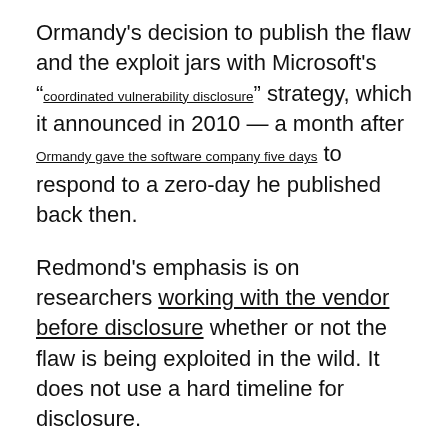Ormandy's decision to publish the flaw and the exploit jars with Microsoft's "coordinated vulnerability disclosure" strategy, which it announced in 2010 — a month after Ormandy gave the software company five days to respond to a zero-day he published back then.
Redmond's emphasis is on researchers working with the vendor before disclosure whether or not the flaw is being exploited in the wild. It does not use a hard timeline for disclosure.
Despite Microsoft's approach, Metasploit founder and CTO of security firm Rapid7, HD Moore says Ormandy's release of the exploit in this case was fair enough.